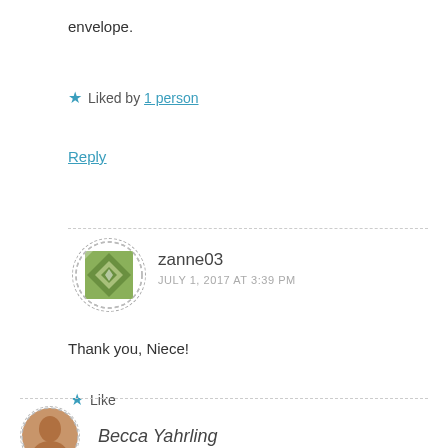envelope.
★ Liked by 1 person
Reply
[Figure (illustration): Circular avatar with dashed border showing a green diamond/geometric pattern tile design for user zanne03]
zanne03
JULY 1, 2017 AT 3:39 PM
Thank you, Niece!
★ Like
Reply
[Figure (photo): Circular avatar showing a woman's face photo for user Becca Yahrling]
Becca Yahrling